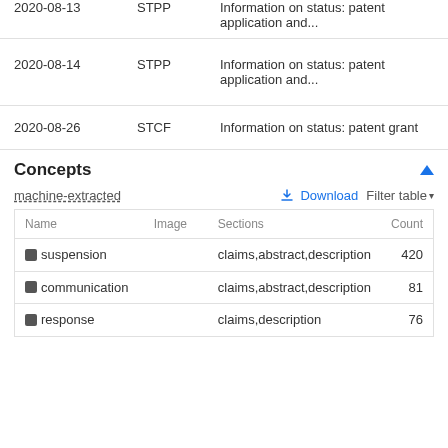| Date | Code | Description |
| --- | --- | --- |
| 2020-08-13 | STPP | Information on status: patent application and... |
| 2020-08-14 | STPP | Information on status: patent application and... |
| 2020-08-26 | STCF | Information on status: patent grant |
Concepts
machine-extracted
| Name | Image | Sections | Count |
| --- | --- | --- | --- |
| suspension |  | claims,abstract,description | 420 |
| communication |  | claims,abstract,description | 81 |
| response |  | claims,description | 76 |